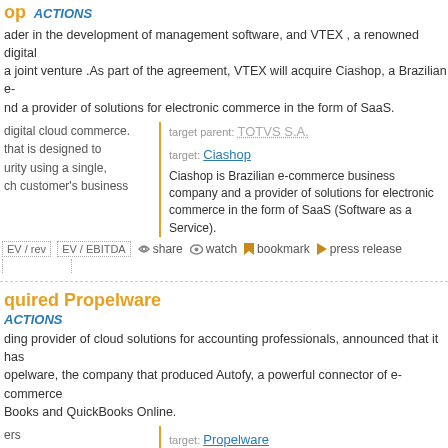op
ACTIONS
ader in the development of management software, and VTEX , a renowned digital a joint venture .As part of the agreement, VTEX will acquire Ciashop, a Brazilian e- nd a provider of solutions for electronic commerce in the form of SaaS.
target parent: TOTVS S.A.
target: Ciashop
Ciashop is Brazilian e-commerce business company and a provider of solutions for electronic commerce in the form of SaaS (Software as a Service).
digital cloud commerce. that is designed to urity using a single, ch customer's business
EV / rev | EV / EBITDA  share  watch  bookmark  press release
quired Propelware
ACTIONS
ding provider of cloud solutions for accounting professionals, announced that it has opelware, the company that produced Autofy, a powerful connector of e-commerce Books and QuickBooks Online.
target: Propelware
Propelware is the company that produced Autofy, a powerful connector of e-commerce and CRM
ers
ovider of cloud-based